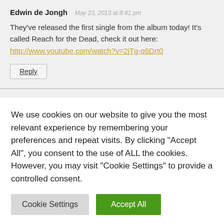Edwin de Jongh — May 23, 2013 at 8:41 pm
They've released the first single from the album today! It's called Reach for the Dead, check it out here: http://www.youtube.com/watch?v=2jTg-q6Drt0
Reply
Synthetrix — May 24, 2013 at 11:55 am
We use cookies on our website to give you the most relevant experience by remembering your preferences and repeat visits. By clicking "Accept All", you consent to the use of ALL the cookies. However, you may visit "Cookie Settings" to provide a controlled consent.
Cookie Settings | Accept All